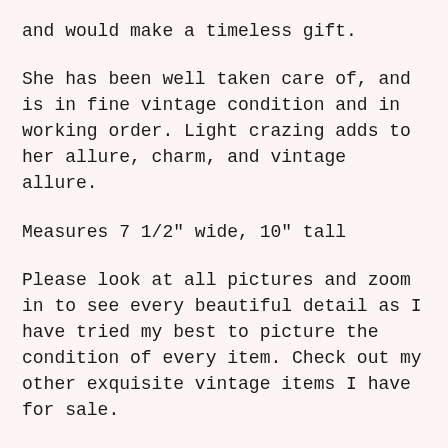and would make a timeless gift.
She has been well taken care of, and is in fine vintage condition and in working order. Light crazing adds to her allure, charm, and vintage allure.
Measures 7 1/2" wide, 10" tall
Please look at all pictures and zoom in to see every beautiful detail as I have tried my best to picture the condition of every item. Check out my other exquisite vintage items I have for sale.
I want you to love your purchase so please ask any questions you have that I did not cover. Please note that vintage pieces are considered to be used. Exhibiting soft wear, crazing, or small manufacturing flaws is to be expected of vintage pieces and will not continue any significant defect to the item.